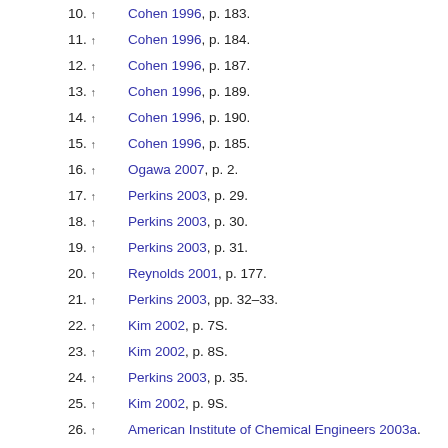10. ↑ Cohen 1996, p. 183.
11. ↑ Cohen 1996, p. 184.
12. ↑ Cohen 1996, p. 187.
13. ↑ Cohen 1996, p. 189.
14. ↑ Cohen 1996, p. 190.
15. ↑ Cohen 1996, p. 185.
16. ↑ Ogawa 2007, p. 2.
17. ↑ Perkins 2003, p. 29.
18. ↑ Perkins 2003, p. 30.
19. ↑ Perkins 2003, p. 31.
20. ↑ Reynolds 2001, p. 177.
21. ↑ Perkins 2003, pp. 32–33.
22. ↑ Kim 2002, p. 7S.
23. ↑ Kim 2002, p. 8S.
24. ↑ Perkins 2003, p. 35.
25. ↑ Kim 2002, p. 9S.
26. ↑ American Institute of Chemical Engineers 2003a.
27. ↑ Towler & Sinnott 2008, pp. 2–3.
28. ↑ Herbst, Andrew; Hans Verwijs (Oct. 19-22). "Project Engineering: Interdisciplinary Coordination and Overall Engineering Quality Control". Proc. of the Annual IAC conference of the American Society for Engineering Management 1 (ISBN 9781618393616):